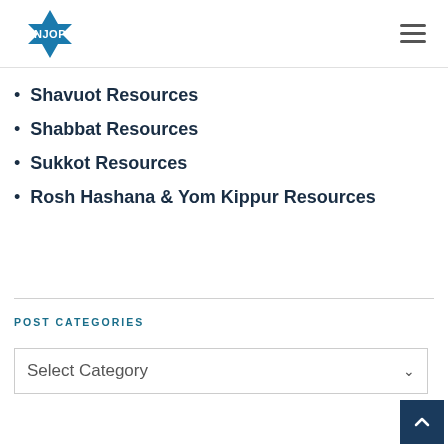NJOP
Shavuot Resources
Shabbat Resources
Sukkot Resources
Rosh Hashana & Yom Kippur Resources
POST CATEGORIES
Select Category